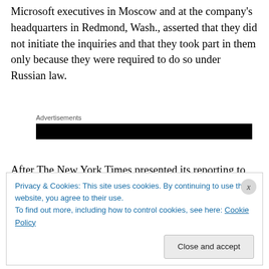Microsoft executives in Moscow and at the company's headquarters in Redmond, Wash., asserted that they did not initiate the inquiries and that they took part in them only because they were required to do so under Russian law.
Advertisements
[Figure (other): Black advertisement banner bar]
After The New York Times presented its reporting to senior Microsoft officials, the company responded that it planned to tighten its oversight of its local affairs in Russia. Human
Privacy & Cookies: This site uses cookies. By continuing to use this website, you agree to their use.
To find out more, including how to control cookies, see here: Cookie Policy
Close and accept